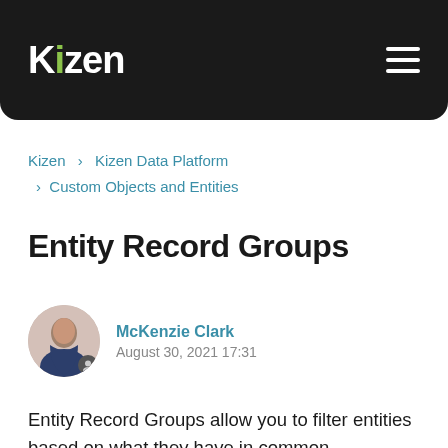Kizen
Kizen › Kizen Data Platform › Custom Objects and Entities
Entity Record Groups
McKenzie Clark
August 30, 2021 17:31
Entity Record Groups allow you to filter entities based on what they have in common.